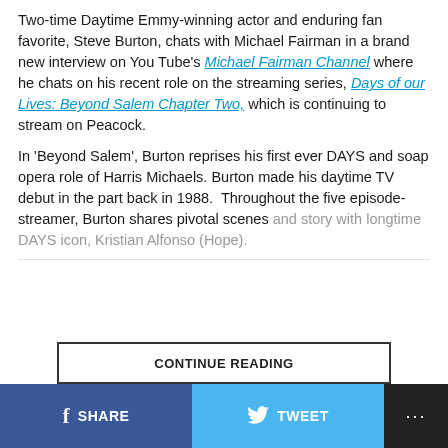Two-time Daytime Emmy-winning actor and enduring fan favorite, Steve Burton, chats with Michael Fairman in a brand new interview on You Tube's Michael Fairman Channel where he chats on his recent role on the streaming series, Days of our Lives: Beyond Salem Chapter Two, which is continuing to stream on Peacock.
In 'Beyond Salem', Burton reprises his first ever DAYS and soap opera role of Harris Michaels. Burton made his daytime TV debut in the part back in 1988.  Throughout the five episode-streamer, Burton shares pivotal scenes and story with longtime DAYS icon, Kristian Alfonso (Hope).
CONTINUE READING
SHARE  TWEET  ...